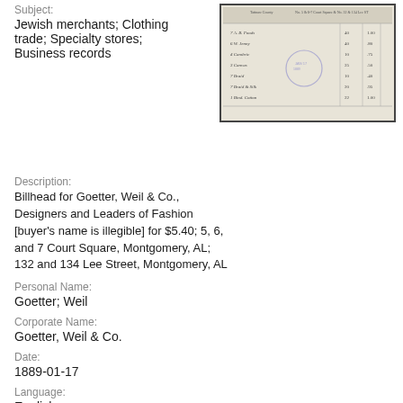Subject:
Jewish merchants; Clothing trade; Specialty stores; Business records
[Figure (photo): Thumbnail image of a historical billhead document from Goetter, Weil & Co., showing handwritten entries in a ledger/receipt format with a circular stamp visible.]
Description:
Billhead for Goetter, Weil & Co., Designers and Leaders of Fashion [buyer's name is illegible] for $5.40; 5, 6, and 7 Court Square, Montgomery, AL; 132 and 134 Lee Street, Montgomery, AL
Personal Name:
Goetter; Weil
Corporate Name:
Goetter, Weil & Co.
Date:
1889-01-17
Language:
English
Rights:
http://rightsstatements.org/vocab/UND/1.0/
Collection: